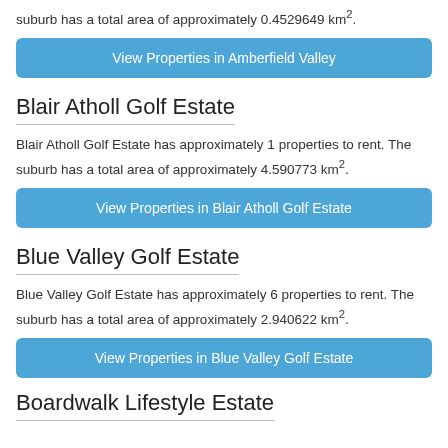suburb has a total area of approximately 0.4529649 km².
View Properties in Amberfield Valley
Blair Atholl Golf Estate
Blair Atholl Golf Estate has approximately 1 properties to rent. The suburb has a total area of approximately 4.590773 km².
View Properties in Blair Atholl Golf Estate
Blue Valley Golf Estate
Blue Valley Golf Estate has approximately 6 properties to rent. The suburb has a total area of approximately 2.940622 km².
View Properties in Blue Valley Golf Estate
Boardwalk Lifestyle Estate